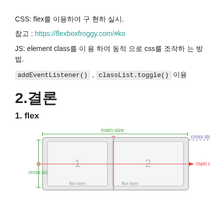CSS: flex를 이용하여 구 현하 실시.
참고 : https://flexboxfroggy.com/#ko
JS: element class를 이 용 하여 동적 으로 css를 조작하 는 방법.
addEventListener() , classList.toggle() 이용
2.결론
1. flex
[Figure (illustration): Flexbox diagram showing main size, cross size, cross start, main axis labels with flex items numbered 1 and 2 inside a container box.]